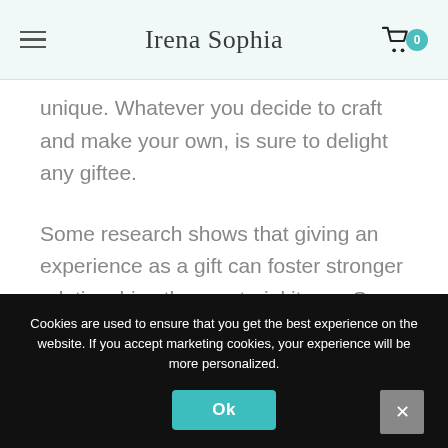Irena Sophia
unique. Whatever you decide to craft and make your own, is sure to delight any giftee.
Some research shows that giving an experience as a gift can foster stronger relationships than material items. So think of the time your best friend was the happiest and remind her of that time with
Cookies are used to ensure that you get the best experience on the website. If you accept marketing cookies, your experience will be more personalized.